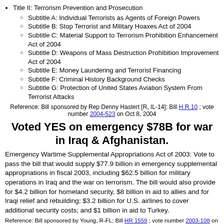Title II: Terrorism Prevention and Prosecution
Subtitle A: Individual Terrorists as Agents of Foreign Powers
Subtitle B: Stop Terrorist and Military Hoaxes Act of 2004
Subtitle C: Material Support to Terrorism Prohibition Enhancement Act of 2004
Subtitle D: Weapons of Mass Destruction Prohibition Improvement Act of 2004
Subtitle E: Money Laundering and Terrorist Financing
Subtitle F: Criminal History Background Checks
Subtitle G: Protection of United States Aviation System From Terrorist Attacks
Reference: Bill sponsored by Rep Denny Hastert [R, IL-14]; Bill H.R.10 ; vote number 2004-523 on Oct 8, 2004
Voted YES on emergency $78B for war in Iraq & Afghanistan.
Emergency Wartime Supplemental Appropriations Act of 2003: Vote to pass the bill that would supply $77.9 billion in emergency supplemental appropriations in fiscal 2003, including $62.5 billion for military operations in Iraq and the war on terrorism. The bill would also provide for $4.2 billion for homeland security, $8 billion in aid to allies and for Iraqi relief and rebuilding; $3.2 billion for U.S. airlines to cover additional security costs; and $1 billion in aid to Turkey.
Reference: Bill sponsored by Young, R-FL; Bill HR 1559 ; vote number 2003-108 on Apr 3, 2003
Voted YES on committee-recommended airline bailout.